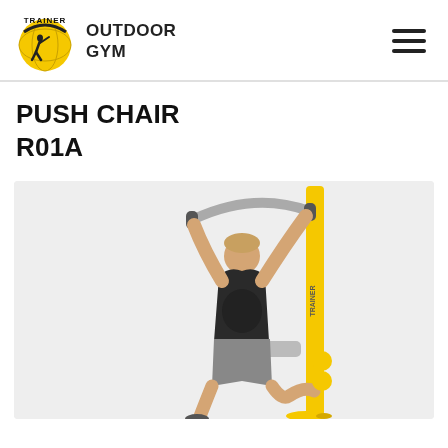TRAINER OUTDOOR GYM
PUSH CHAIR
R01A
[Figure (photo): A person using an outdoor gym push chair machine (model R01A), a yellow metal frame fitness equipment. The user, a young man in a black patterned t-shirt and grey shorts, is seated on the chair and pushing/pulling grey handles overhead. The machine has a prominent yellow vertical pole with TRAINER branding.]